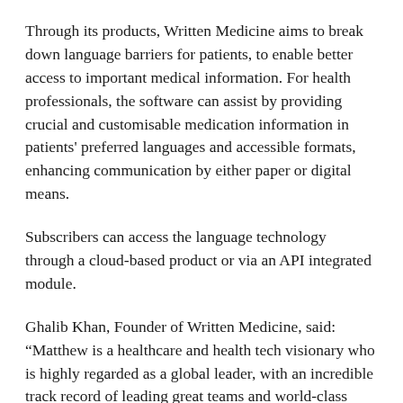Through its products, Written Medicine aims to break down language barriers for patients, to enable better access to important medical information. For health professionals, the software can assist by providing crucial and customisable medication information in patients' preferred languages and accessible formats, enhancing communication by either paper or digital means.
Subscribers can access the language technology through a cloud-based product or via an API integrated module.
Ghalib Khan, Founder of Written Medicine, said: “Matthew is a healthcare and health tech visionary who is highly regarded as a global leader, with an incredible track record of leading great teams and world-class organisations, both in the UK and abroad. We share his vision in improving health and medication information equity and accessibility for all and are in the accelerated process of making it happen.”